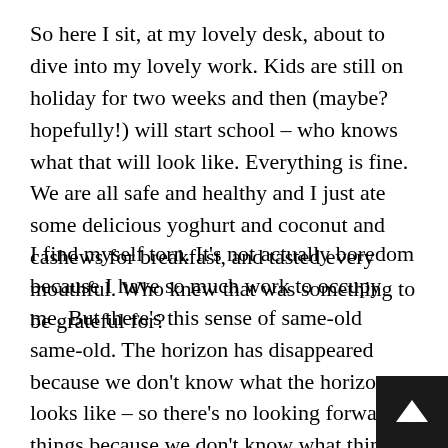So here I sit, at my lovely desk, about to dive into my lovely work. Kids are still on holiday for two weeks and then (maybe? hopefully!) will start school – who knows what that will look like. Everything is fine. We are all safe and healthy and I just ate some delicious yoghurt and coconut and cashews for breakfast, and tasted every mouthful. Who knew that was something to be grateful for?
I find myself torn. It's not actually boredom because I have so much work to occupy me. But there's this sense of same-old same-old. The horizon has disappeared because we don't know what the horizon looks like – so there's no looking forward to things because we don't know what things will become. Five days a week I will be sitting at my desk working, with no hopes of the fun things that used to divert me – lunch dates and coffee dates and movi… and so on, so it's fine, isn't it? Because here's the thi…